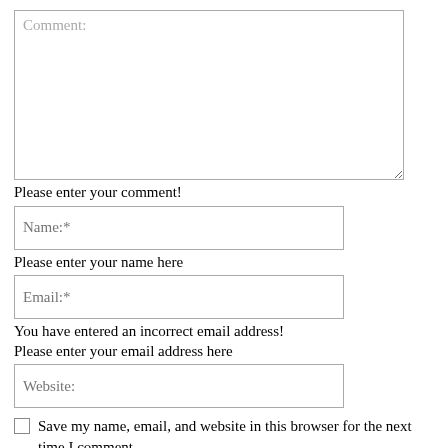[Figure (screenshot): A web comment form textarea with placeholder text 'Comment:']
Please enter your comment!
[Figure (screenshot): A web form input field with placeholder text 'Name:*']
Please enter your name here
[Figure (screenshot): A web form input field with placeholder text 'Email:*']
You have entered an incorrect email address!
Please enter your email address here
[Figure (screenshot): A web form input field with placeholder text 'Website:']
Save my name, email, and website in this browser for the next time I comment.
[Figure (screenshot): A submit button (partially visible at bottom)]